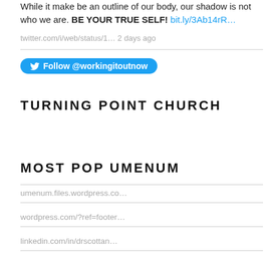While it make be an outline of our body, our shadow is not who we are. BE YOUR TRUE SELF! bit.ly/3Ab14rR…
twitter.com/i/web/status/1… 2 days ago
[Figure (other): Twitter Follow button for @workingitoutnow]
TURNING POINT CHURCH
MOST POP UMENUM
umenum.files.wordpress.co…
wordpress.com/?ref=footer…
linkedin.com/in/drscottan…